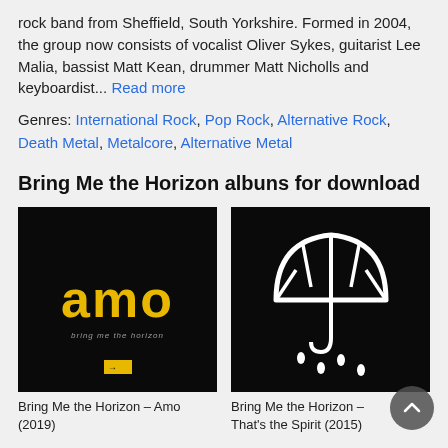rock band from Sheffield, South Yorkshire. Formed in 2004, the group now consists of vocalist Oliver Sykes, guitarist Lee Malia, bassist Matt Kean, drummer Matt Nicholls and keyboardist... Read more
Genres: International Rock, Pop Rock, Alternative Rock, Death Metal, Metalcore, Alternative Metal
Bring Me the Horizon albuns for download
[Figure (illustration): Album cover for Bring Me the Horizon – Amo (2019). Black background with large yellow 'amo' text and small subtitle text.]
Bring Me the Horizon – Amo (2019)
[Figure (illustration): Album cover for Bring Me the Horizon – That's the Spirit (2015). Black background with white outline umbrella dripping water drops.]
Bring Me the Horizon – That's the Spirit (2015)